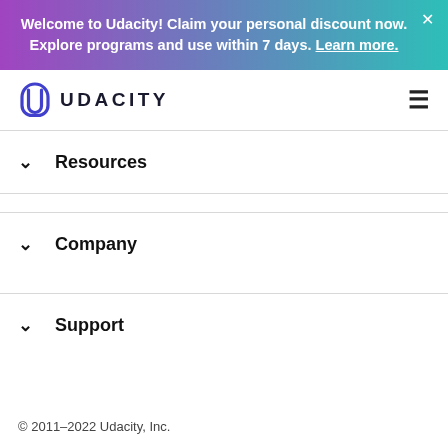Welcome to Udacity! Claim your personal discount now. Explore programs and use within 7 days. Learn more.
[Figure (logo): Udacity logo — U-shaped blue icon with UDACITY wordmark in dark letters]
Resources
Company
Support
© 2011–2022 Udacity, Inc.